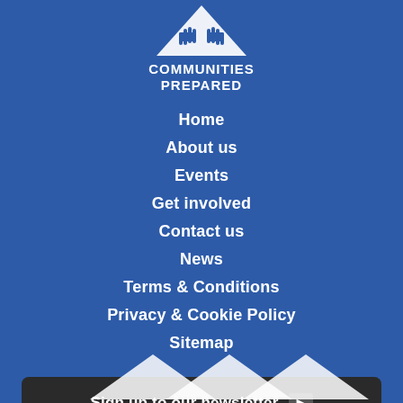[Figure (logo): Communities Prepared logo: white triangle with two hands reaching up, above text COMMUNITIES PREPARED in white bold uppercase]
Home
About us
Events
Get involved
Contact us
News
Terms & Conditions
Privacy & Cookie Policy
Sitemap
Sign up to our newsletter ▶
[Figure (illustration): Three white triangles at the bottom of the page]